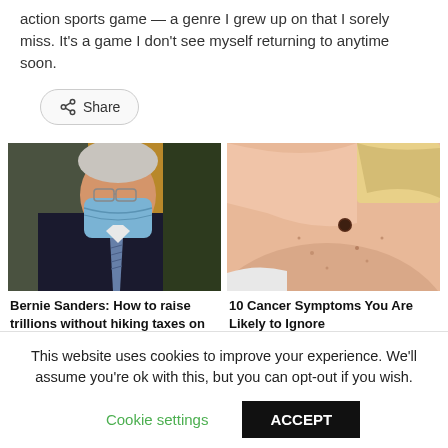action sports game — a genre I grew up on that I sorely miss. It's a game I don't see myself returning to anytime soon.
[Figure (other): Share button with share icon]
[Figure (photo): Photo of Bernie Sanders wearing a blue face mask, in a suit and tie]
Bernie Sanders: How to raise trillions without hiking taxes on ...
[Figure (photo): Close-up photo of a person's shoulder/back with a mole visible]
10 Cancer Symptoms You Are Likely to Ignore
This website uses cookies to improve your experience. We'll assume you're ok with this, but you can opt-out if you wish.
Cookie settings   ACCEPT